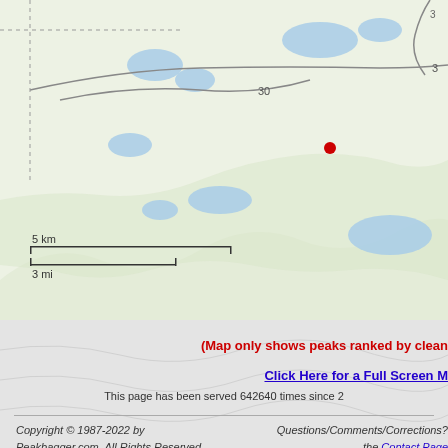[Figure (map): Topographic map showing terrain with lakes (blue), roads (gray lines), route markers (30, 3), a red dot marking a peak location, and a scale bar showing 5 km / 3 mi.]
(Map only shows peaks ranked by clean...
Click Here for a Full Screen M...
This page has been served 642640 times since 2...
Copyright © 1987-2022 by Peakbagger.com. All Rights Reserved.
Questions/Comments/Corrections? the Contact Page